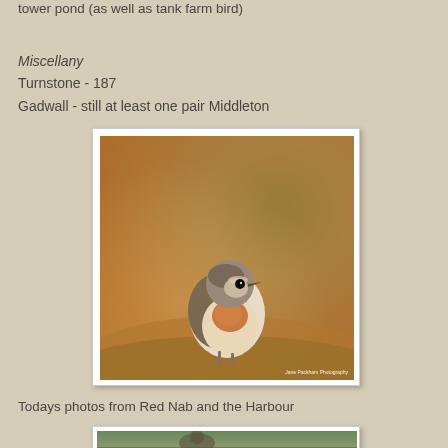tower pond (as well as tank farm bird)
Miscellany
Turnstone - 187
Gadwall - still at least one pair Middleton
[Figure (photo): Close-up photograph of a small bird (likely a Wheatear or Robin) perched on a rock, with warm orange-brown bokeh background. Photo credit: Jane Pickham Photography]
Todays photos from Red Nab and the Harbour
[Figure (photo): Partial view of another bird photograph, cropped at bottom of page]